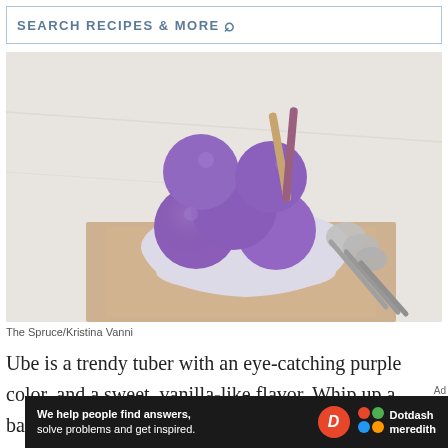SEARCH RECIPES & MORE
[Figure (photo): A bowl of purple ube ice cream scoops with wafer straws, placed on a beige napkin with silver ice cream scoops beside it, on a marble surface.]
The Spruce/Kristina Vanni
Ube is a trendy tuber with an eye-catching purple color, and a sweet, vanilla-like flavor. Whip up a batch of ube ice cream at home to
[Figure (logo): Dotdash Meredith advertisement banner: 'We help people find answers, solve problems and get inspired.' with Dotdash Meredith logo.]